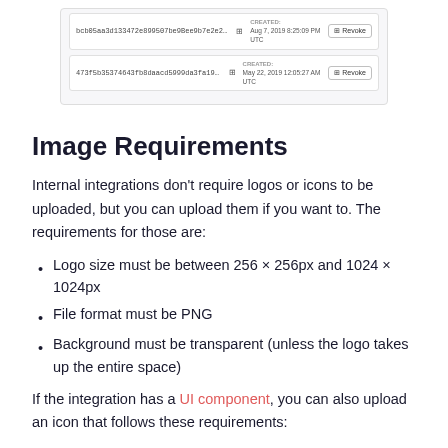[Figure (screenshot): Two API token rows showing hashed token strings with created dates and Revoke buttons. Row 1: bcb05aa3d133472e899507be9Bee9b7e2e24c3386c064639816b2b4c590b5, Created: Aug 7, 2019 8:25:09 PM UTC. Row 2: 473f5b35374643fb8daacd5999da3fa1971c703c91414becaeee9b500afa01, Created: May 22, 2019 12:05:27 AM UTC.]
Image Requirements
Internal integrations don't require logos or icons to be uploaded, but you can upload them if you want to. The requirements for those are:
Logo size must be between 256 × 256px and 1024 × 1024px
File format must be PNG
Background must be transparent (unless the logo takes up the entire space)
If the integration has a UI component, you can also upload an icon that follows these requirements: